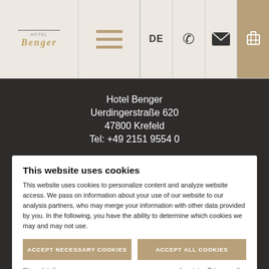Hotel Benger website header with logo, hamburger menu, DE language selector, phone, email, and luggage icons
Hotel Benger
Uerdingerstraße 620
47800 Krefeld
Tel: +49 2151 9554 0
This website uses cookies
This website uses cookies to personalize content and analyze website access. We pass on information about your use of our website to our analysis partners, who may merge your information with other data provided by you. In the following, you have the ability to determine which cookies we may and may not use.
ACCEPT NECESSARY COOKIES
ACCEPT ALL COOKIES
Show details
Imprint   Privacy policy